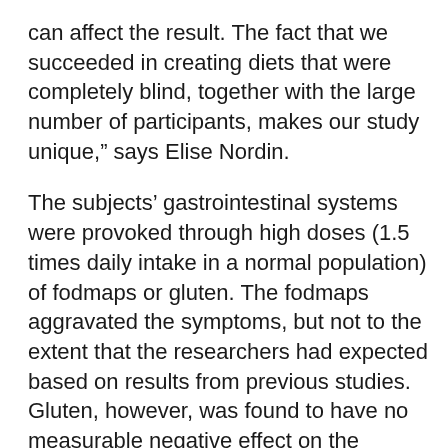can affect the result. The fact that we succeeded in creating diets that were completely blind, together with the large number of participants, makes our study unique,” says Elise Nordin.
The subjects’ gastrointestinal systems were provoked through high doses (1.5 times daily intake in a normal population) of fodmaps or gluten. The fodmaps aggravated the symptoms, but not to the extent that the researchers had expected based on results from previous studies. Gluten, however, was found to have no measurable negative effect on the subjects’ perceived symptoms.
“Our results are important and indicate that